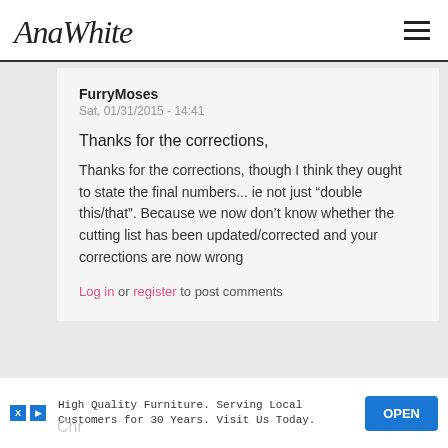AnaWhite
FurryMoses
Sat, 01/31/2015 - 14:41
Thanks for the corrections,
Thanks for the corrections, though I think they ought to state the final numbers... ie not just "double this/that". Because we now don't know whether the cutting list has been updated/corrected and your corrections are now wrong
Log in or register to post comments
High Quality Furniture. Serving Local Customers for 30 Years. Visit Us Today.